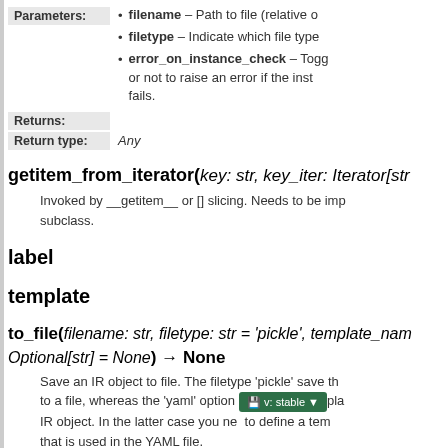filename – Path to file (relative or...
filetype – Indicate which file type...
error_on_instance_check – Toggle or not to raise an error if the inst... fails.
Returns:
Return type: Any
getitem_from_iterator(key: str, key_iter: Iterator[str...
Invoked by __getitem__ or [] slicing. Needs to be imp... subclass.
label
template
to_file(filename: str, filetype: str = 'pickle', template_nam... Optional[str] = None) → None
Save an IR object to file. The filetype 'pickle' save th... to a file, whereas the 'yaml' option ...pla... IR object. In the latter case you nee...to define a tem... that is used in the YAML file.
Parameters: • filename – Path to file (absolute...